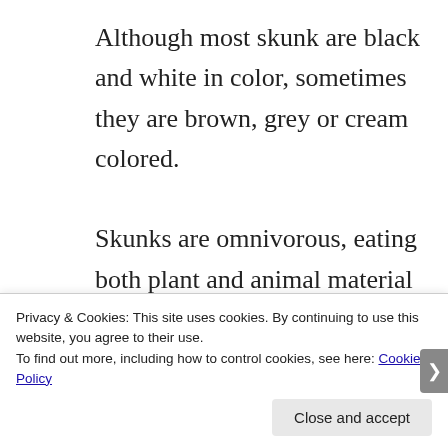Although most skunk are black and white in color, sometimes they are brown, grey or cream colored.

Skunks are omnivorous, eating both plant and animal material and changing their diets as the seasons change. They eat insects and larvae, earthworms, grubs
Privacy & Cookies: This site uses cookies. By continuing to use this website, you agree to their use.
To find out more, including how to control cookies, see here: Cookie Policy
Close and accept